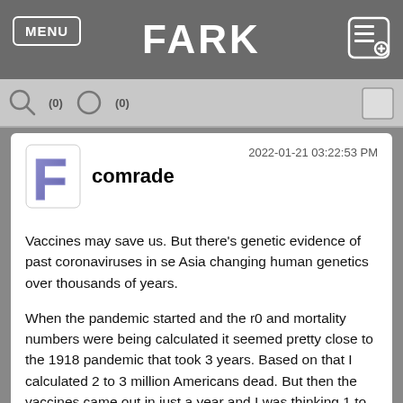FARK
comrade  2022-01-21 03:22:53 PM
Vaccines may save us. But there's genetic evidence of past coronaviruses in se Asia changing human genetics over thousands of years.

When the pandemic started and the r0 and mortality numbers were being calculated it seemed pretty close to the 1918 pandemic that took 3 years. Based on that I calculated 2 to 3 million Americans dead. But then the vaccines came out in just a year and I was thinking 1 to 2 million dead.

Now I'm thinking 1 to 2 million dead but it's going to be with us forever. We'll be taking yearly boosters like the flu shot and the people too poor or ignorant to get their booster will continue to